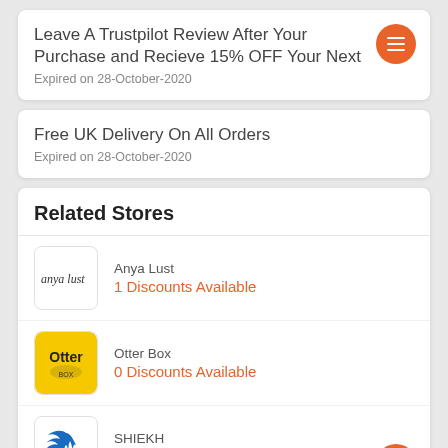Leave A Trustpilot Review After Your Purchase and Recieve 15% OFF Your Next
Expired on 28-October-2020
Free UK Delivery On All Orders
Expired on 28-October-2020
Related Stores
Anya Lust
1 Discounts Available
Otter Box
0 Discounts Available
SHIEKH
2 Discounts Available